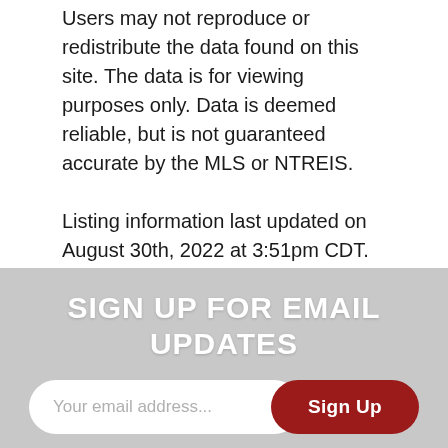Users may not reproduce or redistribute the data found on this site. The data is for viewing purposes only. Data is deemed reliable, but is not guaranteed accurate by the MLS or NTREIS.

Listing information last updated on August 30th, 2022 at 3:51pm CDT.
SIGN UP FOR EMAIL UPDATES
Your email address... [Sign Up]